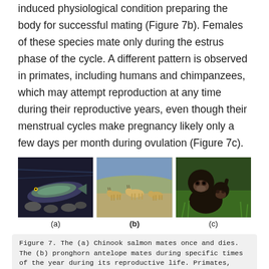induced physiological condition preparing the body for successful mating (Figure 7b). Females of these species mate only during the estrus phase of the cycle. A different pattern is observed in primates, including humans and chimpanzees, which may attempt reproduction at any time during their reproductive years, even though their menstrual cycles make pregnancy likely only a few days per month during ovulation (Figure 7c).
[Figure (photo): Three side-by-side photos labeled (a), (b), (c). (a) Chinook salmon underwater among rocks, dark blue-green tones. (b) Pronghorn antelopes running across a dry open landscape. (c) Two chimpanzees sitting on green grass, one adult and one juvenile.]
Figure 7. The (a) Chinook salmon mates once and dies. The (b) pronghorn antelope mates during specific times of the year during its reproductive life. Primates, such as humans and (c) chimpanzees, may mate on any day, independent of ovulation